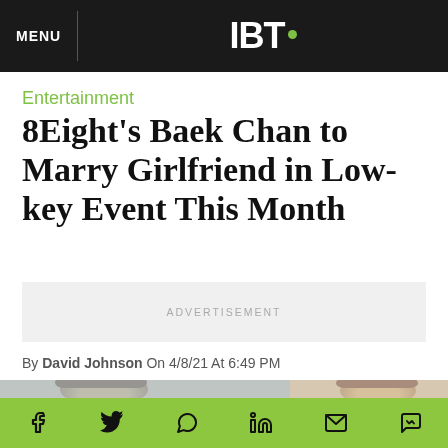MENU | IBT.
Entertainment
8Eight's Baek Chan to Marry Girlfriend in Low-key Event This Month
ADVERTISEMENT
By David Johnson On 4/8/21 At 6:49 PM
[Figure (photo): Photo strip showing two people's heads partially visible at bottom of page]
Social sharing bar with Facebook, Twitter, WhatsApp, LinkedIn, Email, and Messenger icons